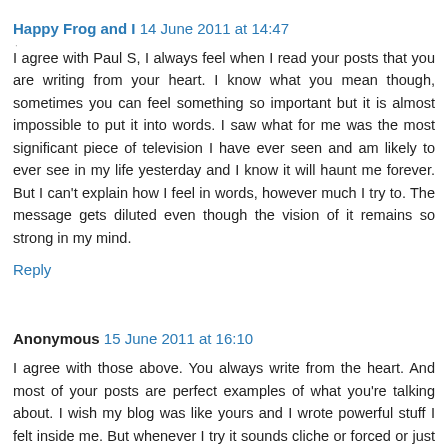Happy Frog and I  14 June 2011 at 14:47
I agree with Paul S, I always feel when I read your posts that you are writing from your heart. I know what you mean though, sometimes you can feel something so important but it is almost impossible to put it into words. I saw what for me was the most significant piece of television I have ever seen and am likely to ever see in my life yesterday and I know it will haunt me forever. But I can't explain how I feel in words, however much I try to. The message gets diluted even though the vision of it remains so strong in my mind.
Reply
Anonymous  15 June 2011 at 16:10
I agree with those above. You always write from the heart. And most of your posts are perfect examples of what you're talking about. I wish my blog was like yours and I wrote powerful stuff I felt inside me. But whenever I try it sounds cliche or forced or just rubbish. Lots of us know how difficult it is to say the something that is important to us and make it sound real.